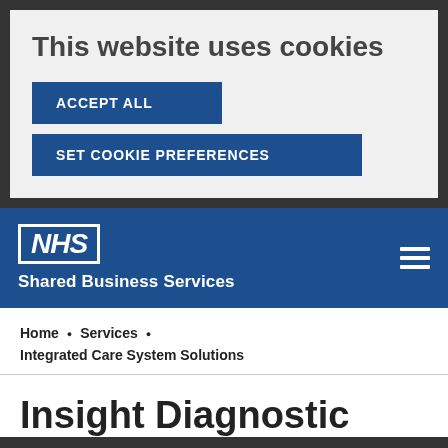This website uses cookies
ACCEPT ALL
SET COOKIE PREFERENCES
[Figure (logo): NHS Shared Business Services logo on blue navigation bar with hamburger menu icon]
Home • Services • Integrated Care System Solutions
Insight Diagnostic